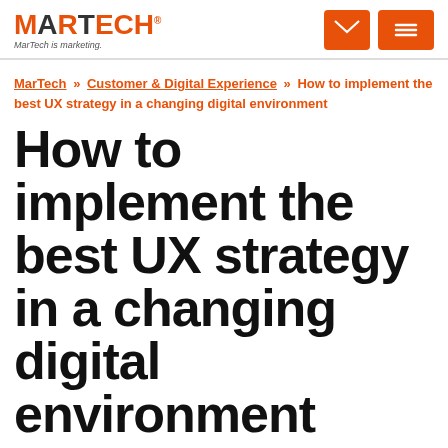MARTECH — MarTech is marketing.
MarTech » Customer & Digital Experience » How to implement the best UX strategy in a changing digital environment
How to implement the best UX strategy in a changing digital environment
UX is more than design changes; it's a